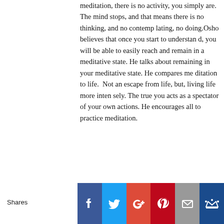meditation, there is no activity, you simply are. The mind stops, and that means there is no thinking, and no contemplating, no doing.Osho believes that once you start to understand, you will be able to easily reach and remain in a meditative state. He talks about remaining in your meditative state. He compares meditation to life. Not an escape from life, but, living life more intensely. The true you acts as a spectator of your own actions. He encourages all to practice meditation.
[Figure (other): Social share bar with Facebook, Twitter, Google+, Pinterest, Email, and a crown/bookmark icon buttons]